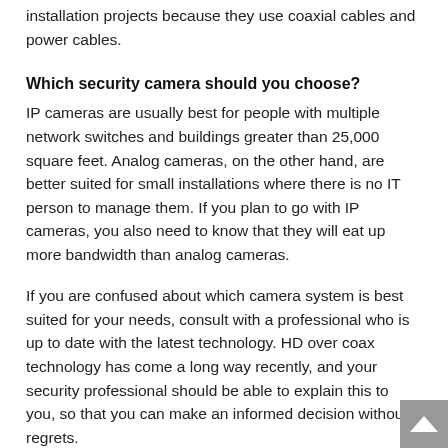installation projects because they use coaxial cables and power cables.
Which security camera should you choose?
IP cameras are usually best for people with multiple network switches and buildings greater than 25,000 square feet. Analog cameras, on the other hand, are better suited for small installations where there is no IT person to manage them. If you plan to go with IP cameras, you also need to know that they will eat up more bandwidth than analog cameras.
If you are confused about which camera system is best suited for your needs, consult with a professional who is up to date with the latest technology. HD over coax technology has come a long way recently, and your security professional should be able to explain this to you, so that you can make an informed decision without regrets.